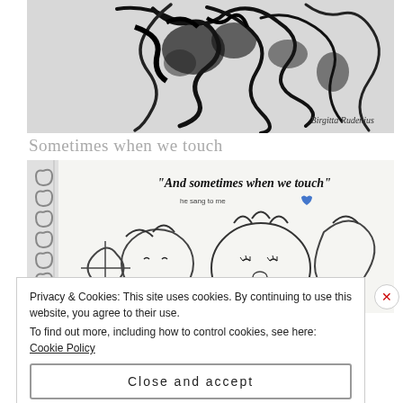[Figure (illustration): Black ink sketch drawing of an abstract figure on white/grey background, signed Birgitta Rudenius]
Sometimes when we touch
[Figure (illustration): Pencil sketch of cartoon-like floral and face forms in a sketchbook, with text 'And sometimes when we touch' and 'he sang to me' with a blue heart]
Privacy & Cookies: This site uses cookies. By continuing to use this website, you agree to their use.
To find out more, including how to control cookies, see here: Cookie Policy
Close and accept